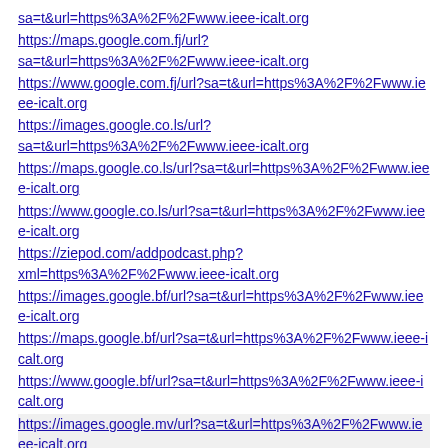sa=t&url=https%3A%2F%2Fwww.ieee-icalt.org
https://maps.google.com.fj/url?sa=t&url=https%3A%2F%2Fwww.ieee-icalt.org
https://www.google.com.fj/url?sa=t&url=https%3A%2F%2Fwww.ieee-icalt.org
https://images.google.co.ls/url?sa=t&url=https%3A%2F%2Fwww.ieee-icalt.org
https://maps.google.co.ls/url?sa=t&url=https%3A%2F%2Fwww.ieee-icalt.org
https://www.google.co.ls/url?sa=t&url=https%3A%2F%2Fwww.ieee-icalt.org
https://ziepod.com/addpodcast.php?xml=https%3A%2F%2Fwww.ieee-icalt.org
https://images.google.bf/url?sa=t&url=https%3A%2F%2Fwww.ieee-icalt.org
https://maps.google.bf/url?sa=t&url=https%3A%2F%2Fwww.ieee-icalt.org
https://www.google.bf/url?sa=t&url=https%3A%2F%2Fwww.ieee-icalt.org
https://images.google.mv/url?sa=t&url=https%3A%2F%2Fwww.ieee-icalt.org